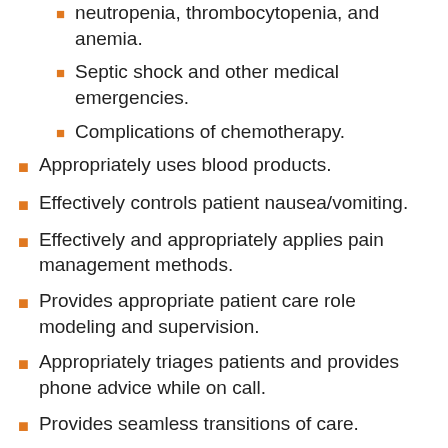neutropenia, thrombocytopenia, and anemia.
Septic shock and other medical emergencies.
Complications of chemotherapy.
Appropriately uses blood products.
Effectively controls patient nausea/vomiting.
Effectively and appropriately applies pain management methods.
Provides appropriate patient care role modeling and supervision.
Appropriately triages patients and provides phone advice while on call.
Provides seamless transitions of care.
Effectively educates families and children about their diagnosis, treatment, and prognosis.
Effectively counsels and discusses palliative care and